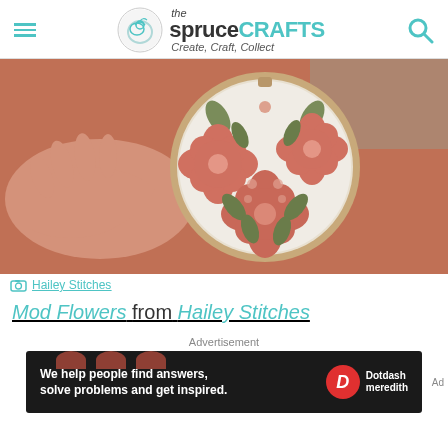the spruce CRAFTS — Create, Craft, Collect
[Figure (photo): A person holding an embroidery hoop displaying mod flower design with coral/terracotta flowers and olive green leaves on white fabric, against a terracotta linen background.]
Hailey Stitches
Mod Flowers from Hailey Stitches
Advertisement
[Figure (screenshot): Advertisement banner: dark background with text 'We help people find answers, solve problems and get inspired.' with Dotdash Meredith logo.]